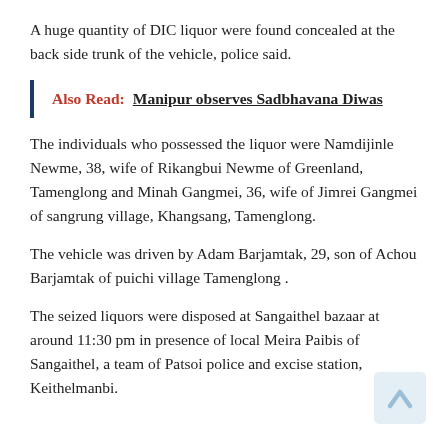A huge quantity of DIC liquor were found concealed at the back side trunk of the vehicle, police said.
Also Read:  Manipur observes Sadbhavana Diwas
The individuals who possessed the liquor were Namdijinle Newme, 38, wife of Rikangbui Newme of Greenland, Tamenglong and Minah Gangmei, 36, wife of Jimrei Gangmei of sangrung village, Khangsang, Tamenglong.
The vehicle was driven by Adam Barjamtak, 29, son of Achou Barjamtak of puichi village Tamenglong .
The seized liquors were disposed at Sangaithel bazaar at around 11:30 pm in presence of local Meira Paibis of Sangaithel, a team of Patsoi police and excise station, Keithelmanbi.